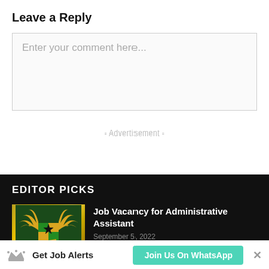Leave a Reply
Enter your comment here...
- Advertisement -
EDITOR PICKS
[Figure (logo): Ghana coat of arms / emblem logo with golden eagle wings, black star, and shield]
Job Vacancy for Administrative Assistant
September 5, 2022
Get Job Alerts  Join Us On WhatsApp  ×